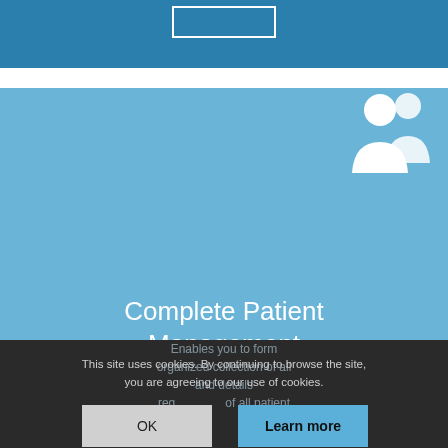[Figure (illustration): Top dark blue banner strip at top of page]
[Figure (illustration): Light blue section with white people/group icon (two human silhouettes) centered]
Complete Patient Management
This site uses cookies. By continuing to browse the site, you are agreeing to our use of cookies.
OK
Learn more